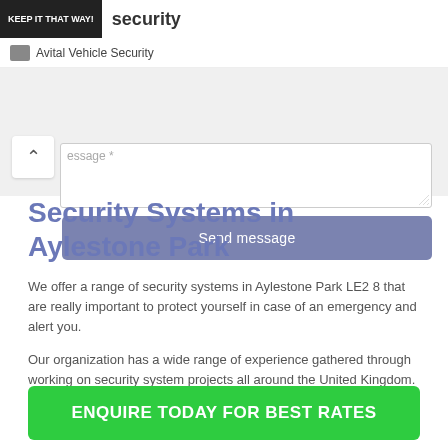KEEP IT THAT WAY! security
Avital Vehicle Security
[Figure (screenshot): Contact form with message textarea and Send message button]
Security Systems in Aylestone Park
We offer a range of security systems in Aylestone Park LE2 8 that are really important to protect yourself in case of an emergency and alert you.
Our organization has a wide range of experience gathered through working on security system projects all around the United Kingdom.
ENQUIRE TODAY FOR BEST RATES